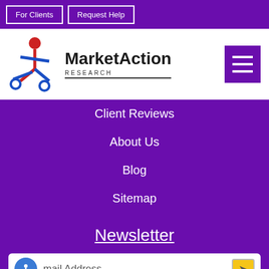For Clients | Request Help
[Figure (logo): MarketAction Research logo with stylized figure graphic in red and blue, with hamburger menu icon in purple]
Client Reviews
About Us
Blog
Sitemap
Newsletter
Email Address